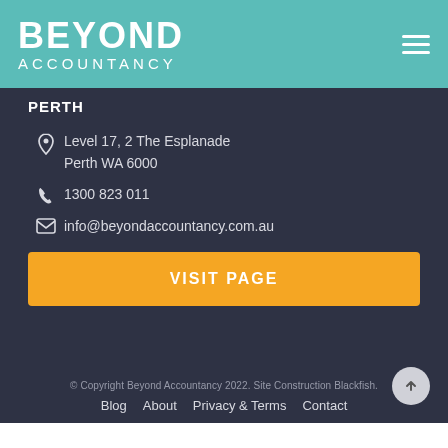[Figure (logo): Beyond Accountancy logo on teal header background with hamburger menu icon]
PERTH
Level 17, 2 The Esplanade
Perth WA 6000
1300 823 011
info@beyondaccountancy.com.au
VISIT PAGE
© Copyright Beyond Accountancy 2022. Site Construction Blackfish.
Blog  About  Privacy & Terms  Contact